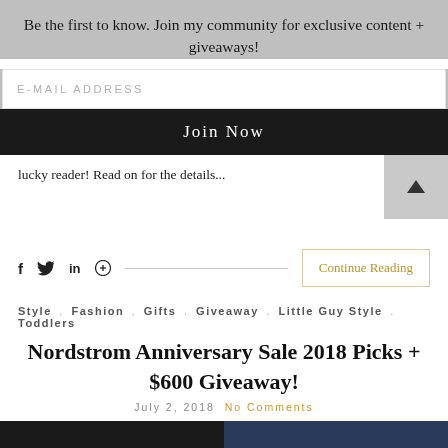Be the first to know. Join my community for exclusive content + giveaways!
[Figure (screenshot): Email address input field with placeholder text 'E-MAIL ADDRESS']
[Figure (screenshot): Dark 'Join Now' button]
lucky reader! Read on for the details...
[Figure (screenshot): Social share icons: f (Facebook), twitter bird, in (LinkedIn), pinterest symbol, followed by Continue Reading button]
Style , Fashion , Gifts , Giveaway , Little Guy Style , Toddlers
Nordstrom Anniversary Sale 2018 Picks + $600 Giveaway!
July 2, 2018  No Comments
[Figure (photo): Two partial photos at bottom of page — dark clothing on left, denim on right]